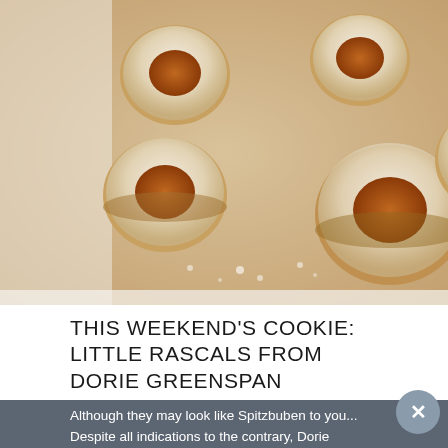[Figure (photo): Close-up photograph of round sandwich cookies (Linzer-style) dusted with powdered sugar and filled with amber-colored jam, arranged on a light-colored surface]
THIS WEEKEND'S COOKIE: LITTLE RASCALS FROM DORIE GREENSPAN
Although they may look like Spitzbuben to you... Despite all indications to the contrary, Dorie Greenspan's cookie recipe...